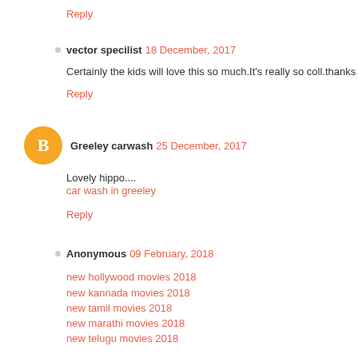Reply
vector specilist  18 December, 2017
Certainly the kids will love this so much.It's really so coll.thanks for sh
Reply
Greeley carwash  25 December, 2017
Lovely hippo....
car wash in greeley
Reply
Anonymous  09 February, 2018
new hollywood movies 2018
new kannada movies 2018
new tamil movies 2018
new marathi movies 2018
new telugu movies 2018
new malayalam movies 2018
new gujarati movies 2018
new punjabi movies 2018